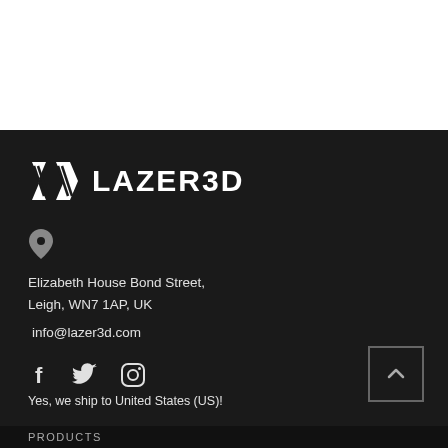[Figure (logo): LAZER3D brand logo with angular chevron/arrow graphic in white on dark background, followed by bold white text LAZER3D]
Elizabeth House Bond Street,
Leigh, WN7 1AP, UK
info@lazer3d.com
[Figure (illustration): Social media icons: Facebook (f), Twitter (bird), Instagram (camera outline)]
Yes, we ship to United States (US)!
PRODUCTS